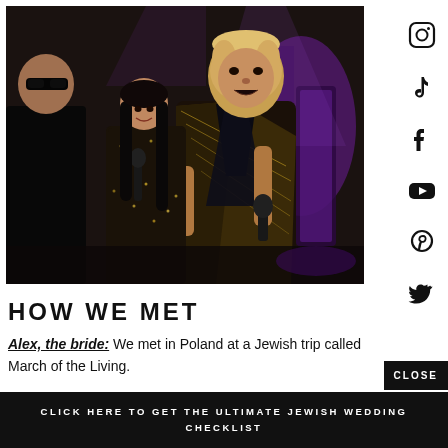[Figure (photo): A man with blonde cropped hair wearing a gold/black patterned blazer holding a microphone performing on stage, with a woman in a sparkly outfit and a man in black visible behind him. Purple lighting in the background.]
HOW WE MET
Alex, the bride: We met in Poland at a Jewish trip called March of the Living.
CLOSE
CLICK HERE TO GET THE ULTIMATE JEWISH WEDDING CHECKLIST